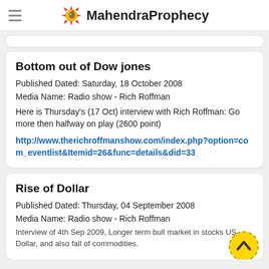MahendraProphecy
Bottom out of Dow jones
Published Dated: Saturday, 18 October 2008
Media Name: Radio show - Rich Roffman
Here is Thursday's (17 Oct) interview with Rich Roffman: Go more then halfway on play (2600 point)
http://www.therichroffmanshow.com/index.php?option=com_eventlist&Itemid=26&func=details&did=33
Rise of Dollar
Published Dated: Thursday, 04 September 2008
Media Name: Radio show - Rich Roffman
Interview of 4th Sep 2009, Longer term bull market in stocks US Dollar, and also fall of commodities.